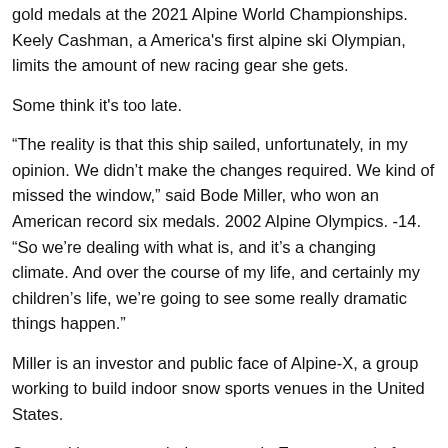gold medals at the 2021 Alpine World Championships. Keely Cashman, a America's first alpine ski Olympian, limits the amount of new racing gear she gets.
Some think it's too late.
“The reality is that this ship sailed, unfortunately, in my opinion. We didn’t make the changes required. We kind of missed the window,” said Bode Miller, who won an American record six medals. 2002 Alpine Olympics. -14. “So we’re dealing with what is, and it’s a changing climate. And over the course of my life, and certainly my children’s life, we’re going to see some really dramatic things happen.”
Miller is an investor and public face of Alpine-X, a group working to build indoor snow sports venues in the United States.
Some ski racers use indoor spots in Europe to train for technical events. Could actual World Cup events be next? Don't forget: figure